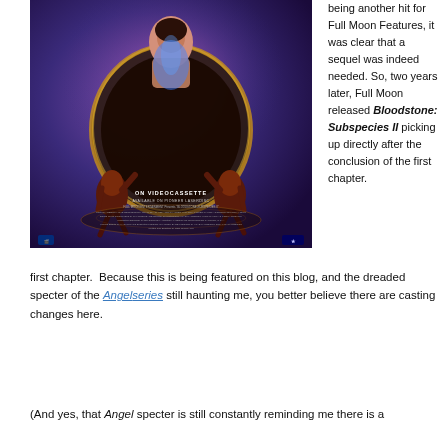[Figure (photo): Movie poster for Bloodstone: Subspecies II showing a woman in a shell/clamshell held by demon creatures, with text 'ON VIDEOCASSETTE' and crew credits at the bottom, on a purple/blue background]
being another hit for Full Moon Features, it was clear that a sequel was indeed needed. So, two years later, Full Moon released Bloodstone: Subspecies II picking up directly after the conclusion of the first chapter.  Because this is being featured on this blog, and the dreaded specter of the Angel series still haunting me, you better believe there are casting changes here.
(And yes, that Angel specter is still constantly reminding me there is a